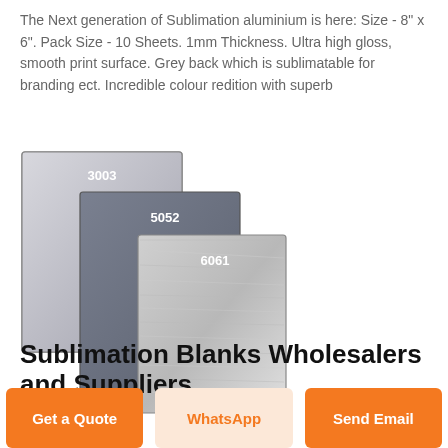The Next generation of Sublimation aluminium is here: Size - 8" x 6". Pack Size - 10 Sheets. 1mm Thickness. Ultra high gloss, smooth print surface. Grey back which is sublimatable for branding ect. Incredible colour redition with superb
[Figure (photo): Three overlapping aluminium sheet samples labeled 3003 (light silver), 5052 (dark grey), and 6061 (brushed silver), stacked in a cascading arrangement.]
Sublimation Blanks Wholesalers and Suppliers
Get a Quote
WhatsApp
Send Email